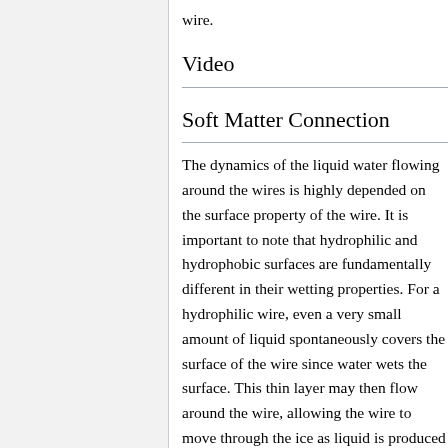wire.
Video
Soft Matter Connection
The dynamics of the liquid water flowing around the wires is highly depended on the surface property of the wire. It is important to note that hydrophilic and hydrophobic surfaces are fundamentally different in their wetting properties. For a hydrophilic wire, even a very small amount of liquid spontaneously covers the surface of the wire since water wets the surface. This thin layer may then flow around the wire, allowing the wire to move through the ice as liquid is produced by pressure melting in front of the wire at the same rate as it is